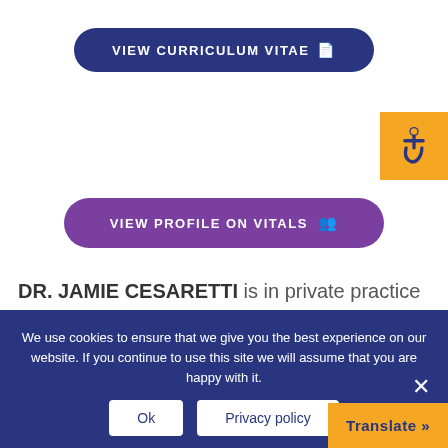[Figure (other): Blue rounded button labeled VIEW CURRICULUM VITAE with document icon]
[Figure (other): Orange square accessibility badge with wheelchair icon]
[Figure (other): Purple rounded button labeled VIEW PROFILE ON VITALS with person/group icon]
DR. JAMIE CESARETTI is in private practice in Jacksonville Florida, where he and his partner treat over 600 patients a year with prostate cancer. He began his career at Mount Sinai Medical Center in New York as a resident and then continued as faculty for four years during which time he studied the reasons behind why patients develop side effects during and following radiation therapy for prostate
We use cookies to ensure that we give you the best experience on our website. If you continue to use this site we will assume that you are happy with it.
Ok
Privacy policy
Translate »